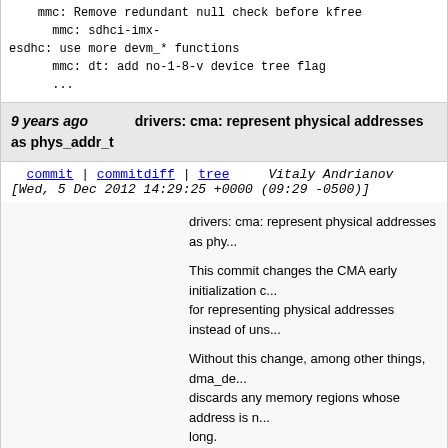mmc: Remove redundant null check before kfree
    mmc: sdhci-imx-
esdhc: use more devm_* functions
    mmc: dt: add no-1-8-v device tree flag
    ...
9 years ago    drivers: cma: represent physical addresses as phys_addr_t
commit | commitdiff | tree    Vitaly Andrianov [Wed, 5 Dec 2012 14:29:25 +0000 (09:29 -0500)]
drivers: cma: represent physical addresses as phy...

This commit changes the CMA early initialization o... for representing physical addresses instead of uns...

Without this change, among other things, dma_de... discards any memory regions whose address is n... long.

This is a problem on 32-bit PAE machines where unsigned long is 32-bit but physical address space is larger.

Signed-off-by: Vitaly Andrianov <vitalya@ti.com>
Signed-off-by: Cyril Chemparathy <cyril@ti.com>